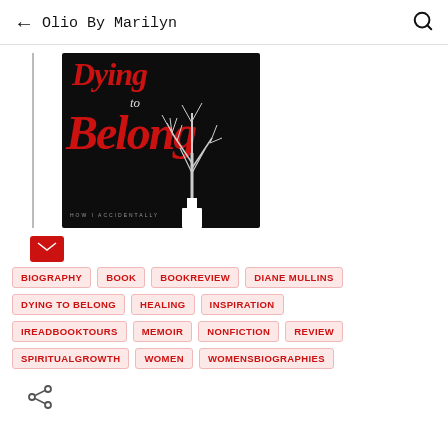← Olio By Marilyn 🔍
[Figure (illustration): Book cover for 'Dying to Belong' — dark background with red script text reading 'Dying to Belong', a bare white tree silhouette, and subtitle 'HOW I ACCIDENTALLY']
[Figure (other): Red email/envelope icon button]
BIOGRAPHY
BOOK
BOOKREVIEW
DIANE MULLINS
DYING TO BELONG
HEALING
INSPIRATION
IREADBOOKTOURS
MEMOIR
NONFICTION
REVIEW
SPIRITUALGROWTH
WOMEN
WOMENSBIOGRAPHIES
[Figure (other): Share icon (less-than style share symbol)]